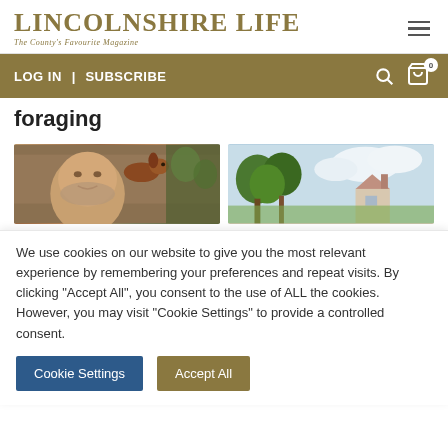LINCOLNSHIRE LIFE | The County's Favourite Magazine
LOG IN | SUBSCRIBE
foraging
[Figure (photo): Left: a bald man smiling with a small dachshund dog. Right: a house with trees against a cloudy sky.]
We use cookies on our website to give you the most relevant experience by remembering your preferences and repeat visits. By clicking "Accept All", you consent to the use of ALL the cookies. However, you may visit "Cookie Settings" to provide a controlled consent.